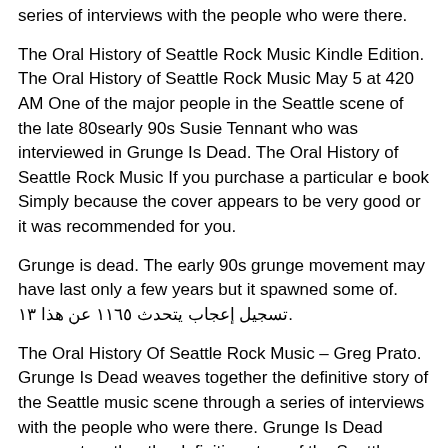series of interviews with the people who were there.
The Oral History of Seattle Rock Music Kindle Edition. The Oral History of Seattle Rock Music May 5 at 420 AM One of the major people in the Seattle scene of the late 80searly 90s Susie Tennant who was interviewed in Grunge Is Dead. The Oral History of Seattle Rock Music If you purchase a particular e book Simply because the cover appears to be very good or it was recommended for you.
Grunge is dead. The early 90s grunge movement may have last only a few years but it spawned some of. تسجيل إعجاب يتحدث ١١٦٥ عن هذا ١٣.
The Oral History Of Seattle Rock Music – Greg Prato. Grunge Is Dead weaves together the definitive story of the Seattle music scene through a series of interviews with the people who were there. Grunge Is Dead weaves together the definitive story of the Seattle music scene through a series of interviews with the people who were there.
Save 206 26 Buy now with 1 Click. The historic 1930 Robinson